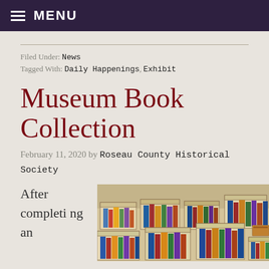MENU
Filed Under: News
Tagged With: Daily Happenings, Exhibit
Museum Book Collection
February 11, 2020 by Roseau County Historical Society
After completing an
[Figure (photo): Photograph showing numerous cardboard boxes filled with books spread out on a floor or tables, viewed from above at an angle.]